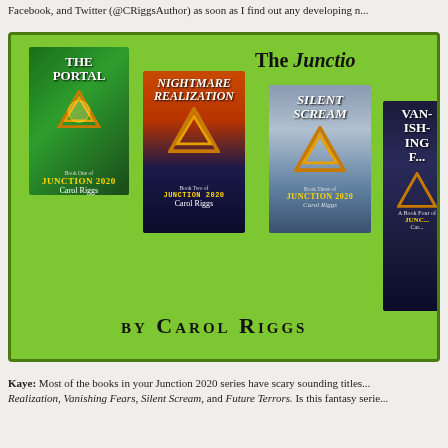Facebook, and Twitter (@CRiggsAuthor) as soon as I find out any developing n...
[Figure (illustration): Green banner advertising The Junction 2020 series by Carol Riggs, showing four book covers: The Portal (Book One), Nightmare Realization (Book Two), Silent Scream (Book Three), and Vanishing Fears (Book Four), on a bright green background with the series title 'THE JUNCTION' and 'BY CAROL RIGGS' text.]
Kaye: Most of the books in your Junction 2020 series have scary sounding titles... Realization, Vanishing Fears, Silent Scream, and Future Terrors. Is this fantasy serie...